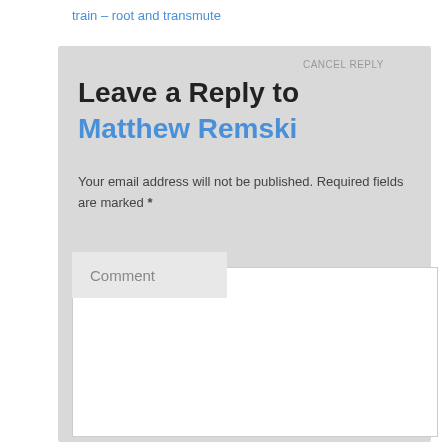train – root and transmute
CANCEL REPLY
Leave a Reply to Matthew Remski
Your email address will not be published. Required fields are marked *
Comment